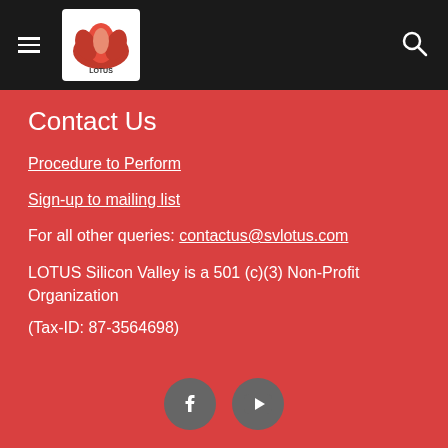LOTUS Silicon Valley navigation bar with hamburger menu and search icon
Contact Us
Procedure to Perform
Sign-up to mailing list
For all other queries: contactus@svlotus.com
LOTUS Silicon Valley is a 501 (c)(3) Non-Profit Organization
(Tax-ID: 87-3564698)
[Figure (logo): Facebook and YouTube social media icons in gray circles]